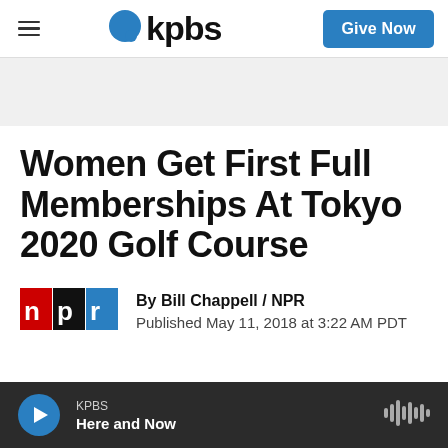kpbs | Give Now
Women Get First Full Memberships At Tokyo 2020 Golf Course
By Bill Chappell / NPR
Published May 11, 2018 at 3:22 AM PDT
KPBS Here and Now